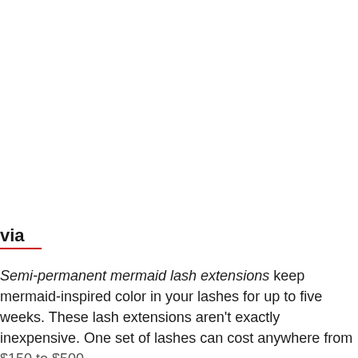via
Semi-permanent mermaid lash extensions keep mermaid-inspired color in your lashes for up to five weeks. These lash extensions aren't exactly inexpensive. One set of lashes can cost anywhere from $150 to $500.